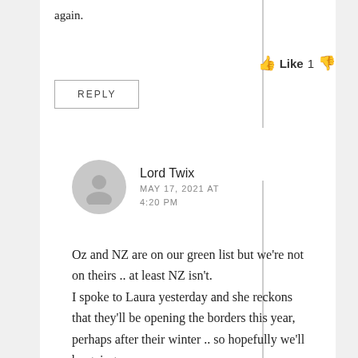again.
Like 1
REPLY
Lord Twix
MAY 17, 2021 AT 4:20 PM
Oz and NZ are on our green list but we're not on theirs .. at least NZ isn't.
I spoke to Laura yesterday and she reckons that they'll be opening the borders this year, perhaps after their winter .. so hopefully we'll be going...